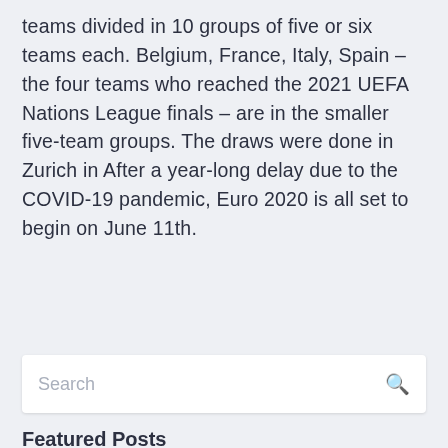teams divided in 10 groups of five or six teams each. Belgium, France, Italy, Spain – the four teams who reached the 2021 UEFA Nations League finals – are in the smaller five-team groups. The draws were done in Zurich in After a year-long delay due to the COVID-19 pandemic, Euro 2020 is all set to begin on June 11th.
Search
Featured Posts